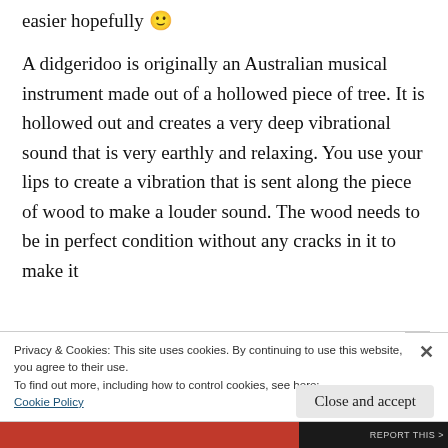easier hopefully 🙂
A didgeridoo is originally an Australian musical instrument made out of a hollowed piece of tree. It is hollowed out and creates a very deep vibrational sound that is very earthly and relaxing. You use your lips to create a vibration that is sent along the piece of wood to make a louder sound. The wood needs to be in perfect condition without any cracks in it to make it fully functional.
Privacy & Cookies: This site uses cookies. By continuing to use this website, you agree to their use.
To find out more, including how to control cookies, see here:
Cookie Policy
Close and accept